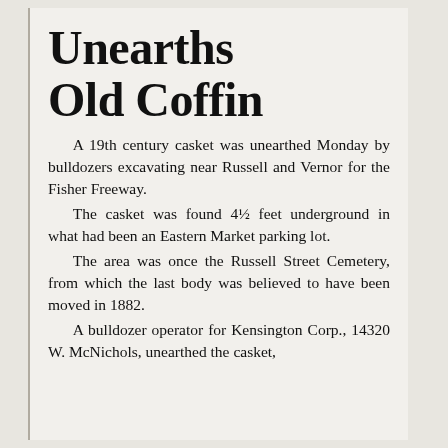Unearths Old Coffin
A 19th century casket was unearthed Monday by bulldozers excavating near Russell and Vernor for the Fisher Freeway. The casket was found 4½ feet underground in what had been an Eastern Market parking lot. The area was once the Russell Street Cemetery, from which the last body was believed to have been moved in 1882. A bulldozer operator for Kensington Corp., 14320 W. McNichols, unearthed the casket,